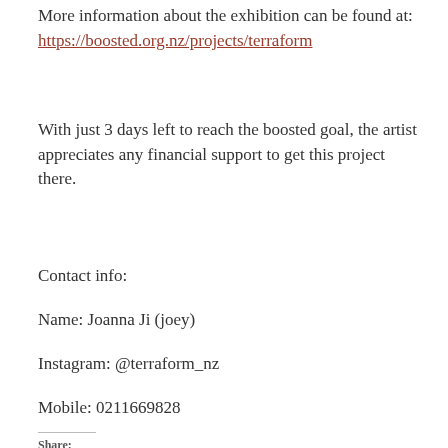More information about the exhibition can be found at: https://boosted.org.nz/projects/terraform
With just 3 days left to reach the boosted goal, the artist appreciates any financial support to get this project there.
Contact info:
Name: Joanna Ji (joey)
Instagram: @terraform_nz
Mobile: 0211669828
Share: